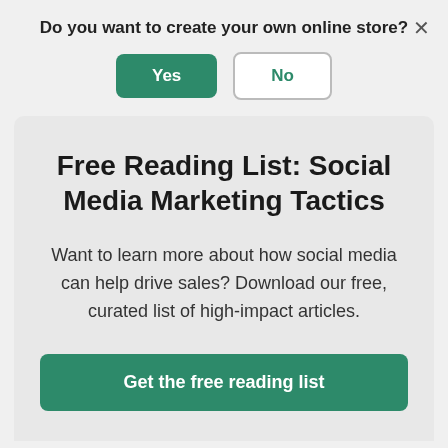Do you want to create your own online store?
Yes
No
Free Reading List: Social Media Marketing Tactics
Want to learn more about how social media can help drive sales? Download our free, curated list of high-impact articles.
Get the free reading list